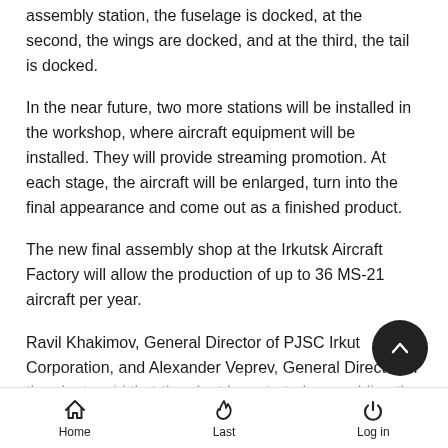assembly station, the fuselage is docked, at the second, the wings are docked, and at the third, the tail is docked.
In the near future, two more stations will be installed in the workshop, where aircraft equipment will be installed. They will provide streaming promotion. At each stage, the aircraft will be enlarged, turn into the final appearance and come out as a finished product.
The new final assembly shop at the Irkutsk Aircraft Factory will allow the production of up to 36 MS-21 aircraft per year.
Ravil Khakimov, General Director of PJSC Irkut Corporation, and Alexander Veprev, General Director of the plant, said that the plant has started assembling the compartments of three more MS-21-300 production aircraft, as well as manufacturing parts and components of subsequent airliners.
Home | Last | Log in